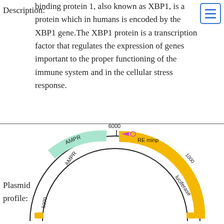Description: binding protein 1, also known as XBP1, is a protein which in humans is encoded by the XBP1 gene. The XBP1 protein is a transcription factor that regulates the expression of genes important to the proper functioning of the immune system and in the cellular stress response.
[Figure (other): Partial circular plasmid map showing upper arc with labeled segments: AMPR (light green segment), RE minp (magenta arrow and small circle near top at 6000 position), luciferase (gold/yellow arc on right side), with position markers at 6000, 1000, 5000. Yellow small rectangles at ends of arc.]
Plasmid profile: